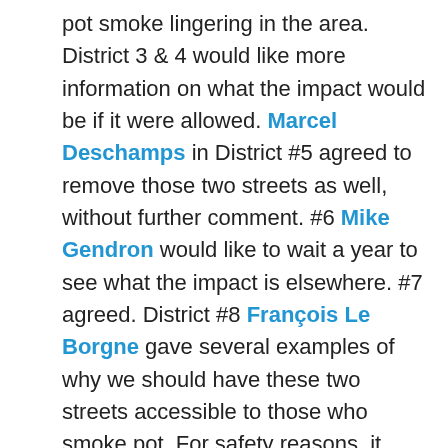pot smoke lingering in the area. District 3 & 4 would like more information on what the impact would be if it were allowed. Marcel Deschamps in District #5 agreed to remove those two streets as well, without further comment. #6 Mike Gendron would like to wait a year to see what the impact is elsewhere. #7 agreed. District #8 François Le Borgne gave several examples of why we should have these two streets accessible to those who smoke pot. For safety reasons, it would be along regular police patrols, who can be there for assistance, if needed. These streets are well lit, not directly in front of businesses, or large amounts of people, and regular bus service is available on these two streets, since driving while high is never a good idea. The mayor agreed with this sentiment, and added that it would be good for the restaurants and bars to offer a place to smoke pot nearby. He also explained that this is no